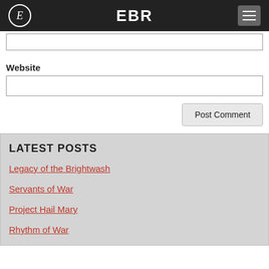EBR
Website
LATEST POSTS
Legacy of the Brightwash
Servants of War
Project Hail Mary
Rhythm of War